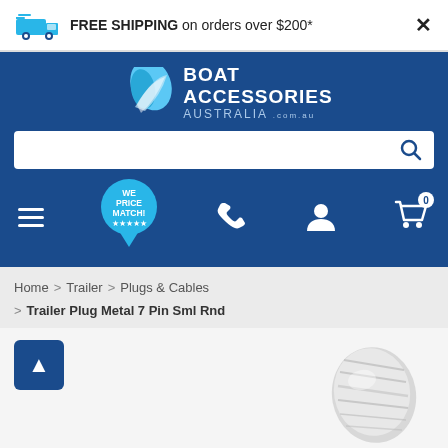FREE SHIPPING on orders over $200*
[Figure (logo): Boat Accessories Australia logo with blue swoosh and text]
[Figure (screenshot): Search bar with magnifying glass icon]
[Figure (infographic): Navigation bar with hamburger menu, We Price Match badge, phone icon, user icon, and cart icon with 0 badge]
Home > Trailer > Plugs & Cables > Trailer Plug Metal 7 Pin Sml Rnd
[Figure (photo): Product image of Trailer Plug Metal 7 Pin Sml Rnd - metallic silver circular connector]